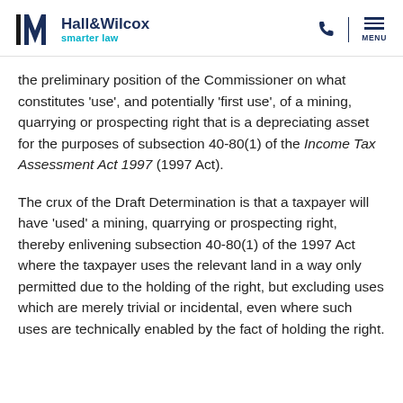Hall&Wilcox smarter law
the preliminary position of the Commissioner on what constitutes ‘use’, and potentially ‘first use’, of a mining, quarrying or prospecting right that is a depreciating asset for the purposes of subsection 40-80(1) of the Income Tax Assessment Act 1997 (1997 Act).
The crux of the Draft Determination is that a taxpayer will have ‘used’ a mining, quarrying or prospecting right, thereby enlivening subsection 40-80(1) of the 1997 Act where the taxpayer uses the relevant land in a way only permitted due to the holding of the right, but excluding uses which are merely trivial or incidental, even where such uses are technically enabled by the fact of holding the right.